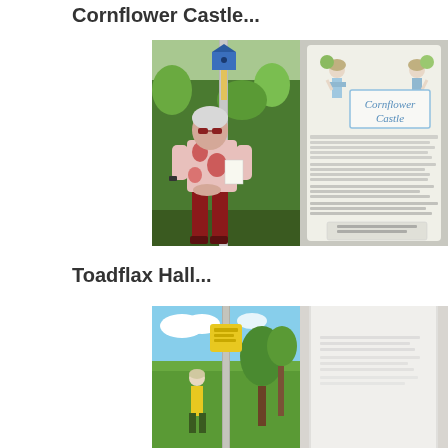Cornflower Castle...
[Figure (photo): Two side-by-side photos: left shows a woman in a pink and red floral top with dark red trousers standing next to a post with a blue birdhouse in a green garden setting; right shows a close-up of a cylindrical post wrapped in a printed sign titled 'Cornflower Castle' with decorative figures holding flower bouquets and informational text below.]
Toadflax Hall...
[Figure (photo): Two side-by-side photos: left shows a post with yellow decorations in a sunny garden with blue sky and green foliage; right shows a white cylindrical sign on a post partially visible.]